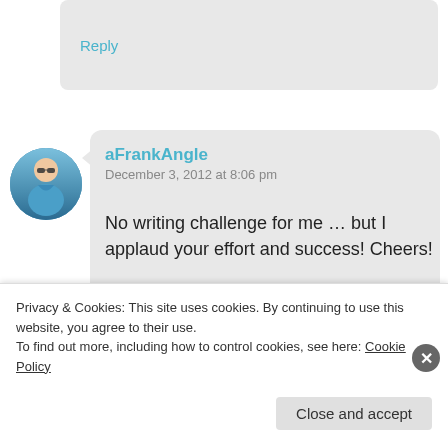Reply
[Figure (photo): Circular avatar photo of a person wearing sunglasses and a blue shirt, outdoors near water]
aFrankAngle
December 3, 2012 at 8:06 pm
No writing challenge for me … but I applaud your effort and success! Cheers!
Reply
[Figure (photo): Partial circular avatar photo at bottom of page]
Privacy & Cookies: This site uses cookies. By continuing to use this website, you agree to their use.
To find out more, including how to control cookies, see here: Cookie Policy
Close and accept